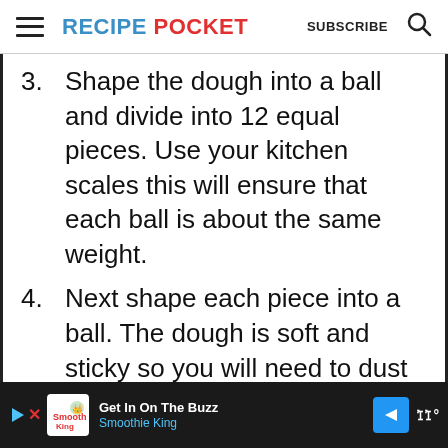RECIPE POCKET  SUBSCRIBE
3. Shape the dough into a ball and divide into 12 equal pieces. Use your kitchen scales this will ensure that each ball is about the same weight.
4. Next shape each piece into a ball. The dough is soft and sticky so you will need to dust
[Figure (other): Advertisement bar: Smoothie King 'Get In On The Buzz' ad with navigation icon and WW logo]